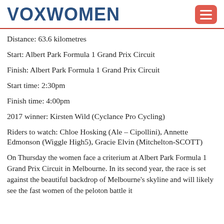VOXWOMEN
Distance: 63.6 kilometres
Start: Albert Park Formula 1 Grand Prix Circuit
Finish: Albert Park Formula 1 Grand Prix Circuit
Start time: 2:30pm
Finish time: 4:00pm
2017 winner: Kirsten Wild (Cyclance Pro Cycling)
Riders to watch: Chloe Hosking (Ale – Cipollini), Annette Edmonson (Wiggle High5), Gracie Elvin (Mitchelton-SCOTT)
On Thursday the women face a criterium at Albert Park Formula 1 Grand Prix Circuit in Melbourne. In its second year, the race is set against the beautiful backdrop of Melbourne's skyline and will likely see the fast women of the peloton battle it